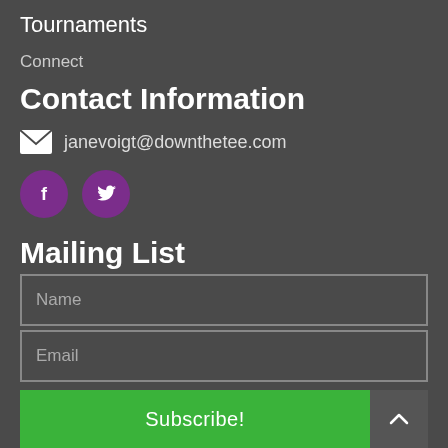Tournaments
Connect
Contact Information
janevoigt@downthetee.com
[Figure (other): Purple circular Facebook and Twitter social media icons]
Mailing List
Name (input field placeholder)
Email (input field placeholder)
Subscribe! (button)